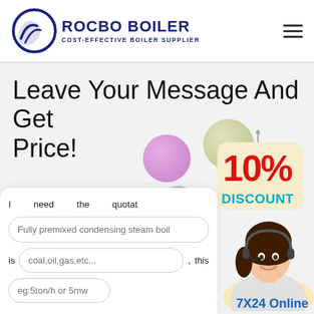ROCBO BOILER — COST-EFFECTIVE BOILER SUPPLIER
Leave Your Message And Get Price!
[Figure (illustration): Decorative colored bubbles (circles) in pink, green, lavender, olive colors scattered across the background]
[Figure (illustration): 10% DISCOUNT badge sign with red and teal text on cream colored hanging sign]
[Figure (photo): Female customer service agent wearing headset smiling]
I need the quotation of
Fully premixed condensing steam boil
is coal,oil,gas,etc... , this
eg:5ton/h or 5mw
7X24 Online